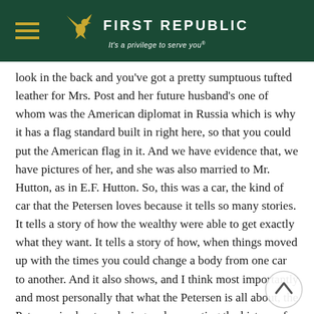First Republic — It's a privilege to serve you®
look in the back and you've got a pretty sumptuous tufted leather for Mrs. Post and her future husband's one of whom was the American diplomat in Russia which is why it has a flag standard built in right here, so that you could put the American flag in it. And we have evidence that, we have pictures of her, and she was also married to Mr. Hutton, as in E.F. Hutton. So, this was a car, the kind of car that the Petersen loves because it tells so many stories. It tells a story of how the wealthy were able to get exactly what they want. It tells a story of how, when things moved up with the times you could change a body from one car to another. And it also shows, and I think most importantly and most personally that what the Petersen is all about, the Petersen is about exploring and presenting the history of the automobile and its impact on global life and culture, all using Los Angeles as the prime example. And what the Petersen does is we try to strike a balance in our workshop. We have to understand that cars have a functional component that can only be